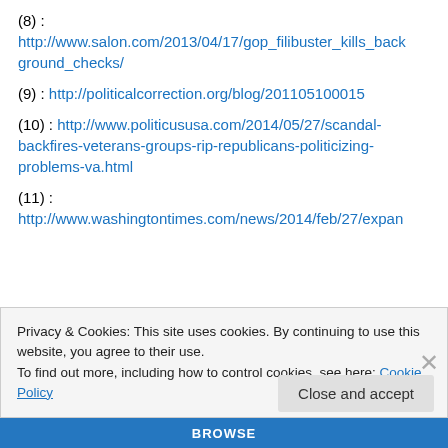(8) : http://www.salon.com/2013/04/17/gop_filibuster_kills_background_checks/
(9) : http://politicalcorrection.org/blog/201105100015
(10) : http://www.politicususa.com/2014/05/27/scandal-backfires-veterans-groups-rip-republicans-politicizing-problems-va.html
(11) : http://www.washingtontimes.com/news/2014/feb/27/expan
Privacy & Cookies: This site uses cookies. By continuing to use this website, you agree to their use.
To find out more, including how to control cookies, see here: Cookie Policy
Close and accept